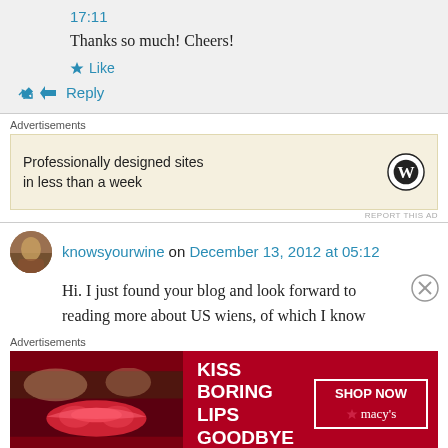17:11
Thanks so much! Cheers!
★ Like
↳ Reply
Advertisements
[Figure (infographic): WordPress advertisement: Professionally designed sites in less than a week]
REPORT THIS AD
knowsyourwine on December 13, 2012 at 05:12
Hi. I just found your blog and look forward to reading more about US wiens, of which I know
Advertisements
[Figure (infographic): Macy's advertisement: KISS BORING LIPS GOODBYE — SHOP NOW]